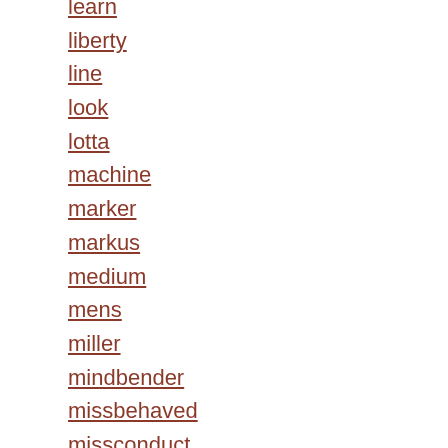learn
liberty
line
look
lotta
machine
marker
markus
medium
mens
miller
mindbender
missbehaved
misconduct
missdemeanor
missy
moment
montar
moto
mount
mountain